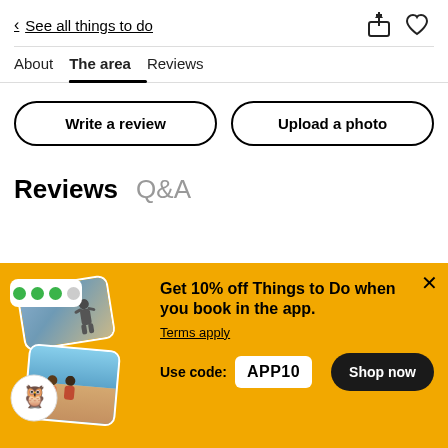< See all things to do
About
The area
Reviews
Write a review
Upload a photo
Reviews  Q&A
[Figure (infographic): TripAdvisor promotional banner with app screenshot cards, Tripadvisor owl logo badge, and yellow background]
Get 10% off Things to Do when you book in the app.
Terms apply
Use code:  APP10
Shop now